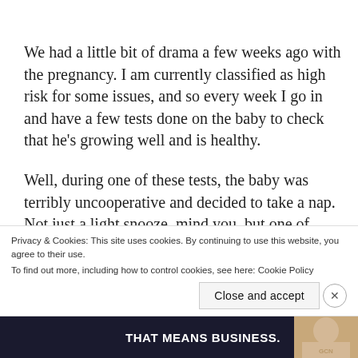We had a little bit of drama a few weeks ago with the pregnancy. I am currently classified as high risk for some issues, and so every week I go in and have a few tests done on the baby to check that he's growing well and is healthy.
Well, during one of these tests, the baby was terribly uncooperative and decided to take a nap. Not just a light snooze, mind you, but one of those
Privacy & Cookies: This site uses cookies. By continuing to use this website, you agree to their use.
To find out more, including how to control cookies, see here: Cookie Policy
Close and accept
[Figure (other): Dark advertisement banner at bottom reading THAT MEANS BUSINESS. with a partial image of a person on the right.]